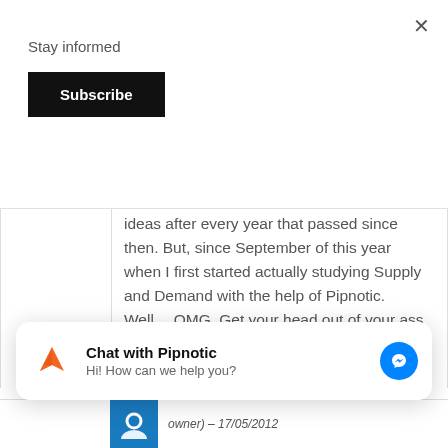Stay informed
Subscribe
ideas after every year that passed since then. But, since September of this year when I first started actually studying Supply and Demand with the help of Pipnotic. Well... OMG. Get your head out of your ass if you are serious and sign up.
Chat with Pipnotic
Hi! How can we help you?
owner) – 17/05/2012